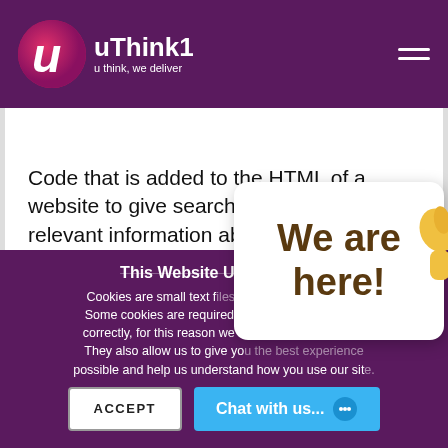uThink1 — u think, we deliver
Schema Markup
Code that is added to the HTML of a website to give search engines more relevant information about a business, person, place, product, or thing. Also known as rich snippets or structured data.
Share this word
[Figure (other): Three social share buttons: Facebook (blue), Twitter (light blue), Google+ (red)]
This Website Uses Cookies
Cookies are small text files. Some cookies are required correctly, for this reason we may... They also allow us to give you... possible and help us understand how you use our site.
[Figure (illustration): We are here! speech bubble with hand/thumb pointing, overlaying the cookie consent banner]
ACCEPT
Chat with us...